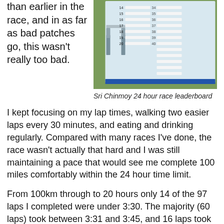than earlier in the race, and in as far as bad patches go, this wasn't really too bad.
[Figure (photo): Sri Chinmoy 24 hour race leaderboard mounted outdoors on grass, showing numbered positions 14-40 with runner names and times.]
Sri Chinmoy 24 hour race leaderboard
I kept focusing on my lap times, walking two easier laps every 30 minutes, and eating and drinking regularly. Compared with many races I've done, the race wasn't actually that hard and I was still maintaining a pace that would see me complete 100 miles comfortably within the 24 hour time limit.
From 100km through to 20 hours only 14 of the 97 laps I completed were under 3:30. The majority (60 laps) took between 3:31 and 3:45, and 16 laps took between 3:46 and 4